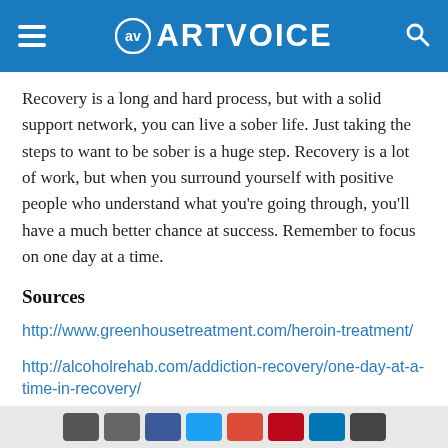ARTVOICE
Recovery is a long and hard process, but with a solid support network, you can live a sober life. Just taking the steps to want to be sober is a huge step. Recovery is a lot of work, but when you surround yourself with positive people who understand what you're going through, you'll have a much better chance at success. Remember to focus on one day at a time.
Sources
http://www.greenhousetreatment.com/heroin-treatment/
http://alcoholrehab.com/addiction-recovery/one-day-at-a-time-in-recovery/
http://www.helpguide.org/articles/addiction/overcoming-drug-addiction.htm
Social share buttons